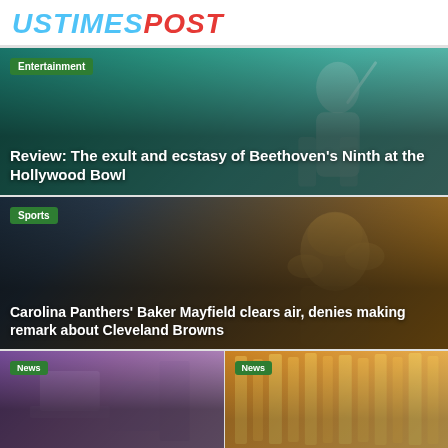USTIMESPOST
[Figure (photo): Conductor raising baton on stage, teal/green toned background photo]
Entertainment
Review: The exult and ecstasy of Beethoven's Ninth at the Hollywood Bowl
[Figure (photo): Football player in helmet, dark background with orange/gold tones]
Sports
Carolina Panthers' Baker Mayfield clears air, denies making remark about Cleveland Browns
[Figure (photo): Purple/violet toned news image, bottom left card]
News
[Figure (photo): Orange/gold toned news image, bottom right card]
News